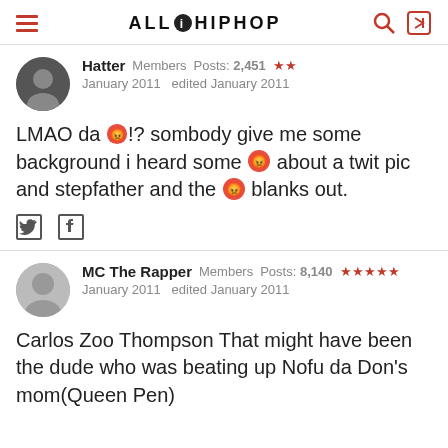ALL HIP HOP
Hatter  Members  Posts: 2,451  ★★
January 2011  edited January 2011
LMAO da 😡!? sombody give me some background i heard some 😡 about a twit pic and stepfather and the 😡 blanks out.
MC The Rapper  Members  Posts: 8,140  ★★★★★
January 2011  edited January 2011
Carlos Zoo Thompson That might have been the dude who was beating up Nofu da Don's mom(Queen Pen)